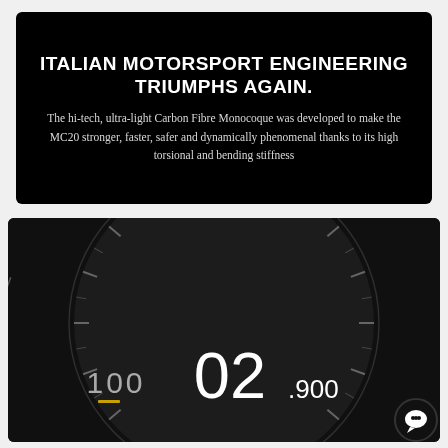ITALIAN MOTORSPORT ENGINEERING TRIUMPHS AGAIN.
The hi-tech, ultra-light Carbon Fibre Monocoque was developed to make the MC20 stronger, faster, safer and dynamically phenomenal thanks to its high torsional and bending stiffness
[Figure (photo): Close-up of a Maserati MC20 digital instrument cluster / gauge display showing circular speedometer with tick marks. Large white numerals show '02' with '.900' subscript and '100' to the left. Dark background with subtle arc of indicator marks around the dial.]